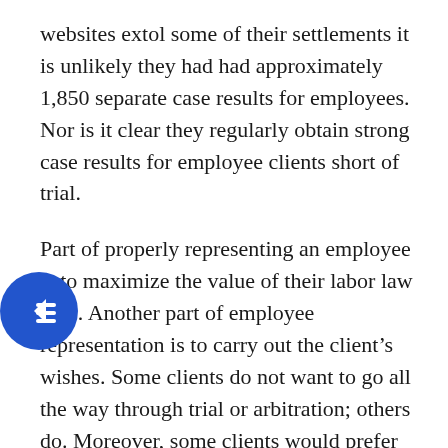websites extol some of their settlements it is unlikely they had had approximately 1,850 separate case results for employees. Nor is it clear they regularly obtain strong case results for employee clients short of trial.
Part of properly representing an employee is to maximize the value of their labor law case. Another part of employee representation is to carry out the client's wishes. Some clients do not want to go all the way through trial or arbitration; others do. Moreover, some clients would prefer to resolve their cases quickly, or at least faster than a year's time. Likewise, some employees do not want to sit for deposition or be present while their lawyer deposes defense witnesses. Our lawyers take into account all